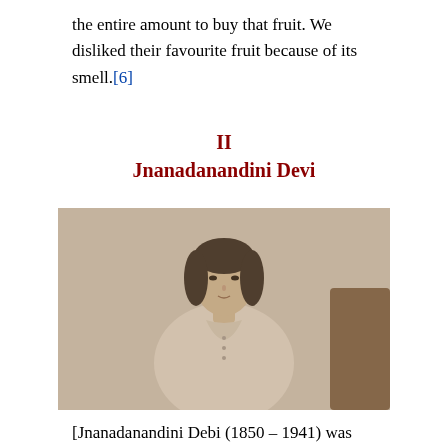the entire amount to buy that fruit. We disliked their favourite fruit because of its smell.[6]
II
Jnanadanandini Devi
[Figure (photo): Sepia-toned historical photograph of Jnanadanandini Devi, a woman with dark hair parted in the middle, wearing a light-colored garment, with another figure partially visible to the right.]
[Jnanadanandini Debi (1850 – 1941) was the wife of Satyendranath Tagore, the second son of Debendranath Tagore. She was very talented among